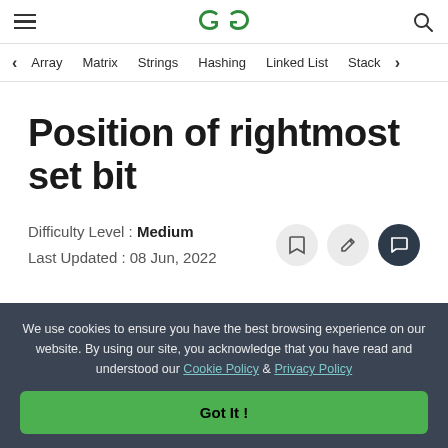[Figure (logo): GeeksforGeeks logo - green GG symbol in header]
Array  Matrix  Strings  Hashing  Linked List  Stack
Position of rightmost set bit
Difficulty Level : Medium
Last Updated : 08 Jun, 2022
We use cookies to ensure you have the best browsing experience on our website. By using our site, you acknowledge that you have read and understood our Cookie Policy & Privacy Policy
Got It !